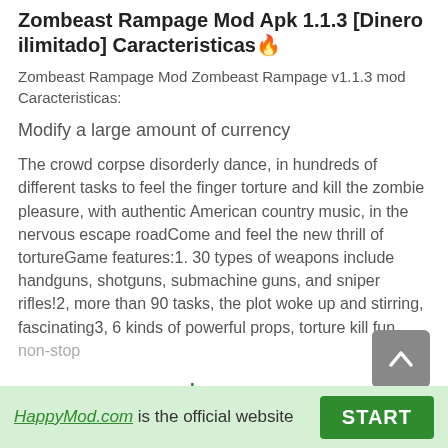Zombeast Rampage Mod Apk 1.1.3 [Dinero ilimitado] Caracteristicas🔥
Zombeast Rampage Mod Zombeast Rampage v1.1.3 mod Caracteristicas:
Modify a large amount of currency
The crowd corpse disorderly dance, in hundreds of different tasks to feel the finger torture and kill the zombie pleasure, with authentic American country music, in the nervous escape roadCome and feel the new thrill of tortureGame features:1. 30 types of weapons include handguns, shotguns, submachine guns, and sniper rifles!2, more than 90 tasks, the plot woke up and stirring, fascinating3, 6 kinds of powerful props, torture kill fun non-stop
Lee mas
HappyMod.com is the official website  START